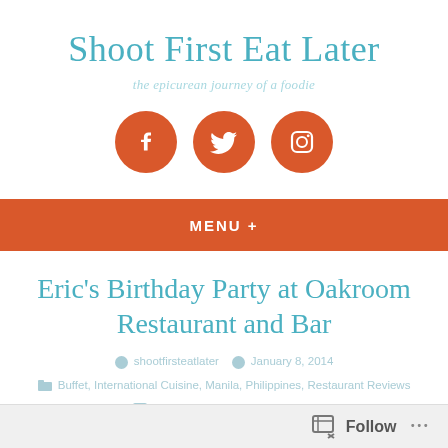Shoot First Eat Later
the epicurean journey of a foodie
[Figure (infographic): Three orange circular social media icons: Facebook, Twitter, Instagram]
MENU +
Eric's Birthday Party at Oakroom Restaurant and Bar
shootfirsteatlater  January 8, 2014
Buffet, International Cuisine, Manila, Philippines, Restaurant Reviews
birthday party, iPhone 5 camera